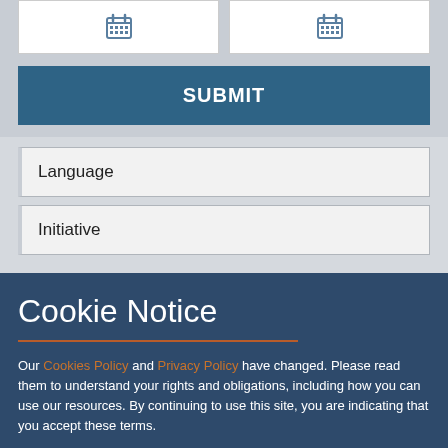[Figure (screenshot): Two date input fields with calendar icons]
SUBMIT
Language
Initiative
Cookie Notice
Our Cookies Policy and Privacy Policy have changed. Please read them to understand your rights and obligations, including how you can use our resources. By continuing to use this site, you are indicating that you accept these terms.
Cookies
We use cookies to enhance your experience on our site. Read about how we use cookies and how you can control them here. By continuing to use this site, without changing your settings, you are indicating that you accept this policy.